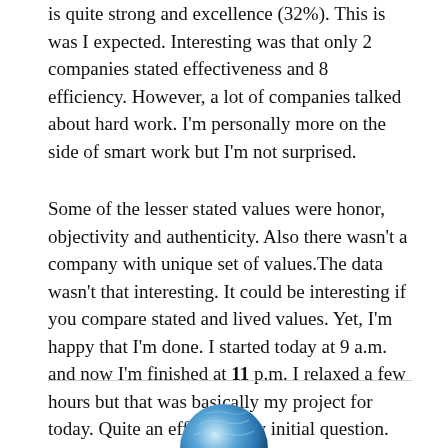is quite strong and excellence (32%). This is was I expected. Interesting was that only 2 companies stated effectiveness and 8 efficiency. However, a lot of companies talked about hard work. I'm personally more on the side of smart work but I'm not surprised.
Some of the lesser stated values were honor, objectivity and authenticity. Also there wasn't a company with unique set of values.The data wasn't that interesting. It could be interesting if you compare stated and lived values. Yet, I'm happy that I'm done. I started today at 9 a.m. and now I'm finished at 11 p.m. I relaxed a few hours but that was basically my project for today. Quite an effort for my initial question.
[Figure (photo): Partial view of a blue circular avatar/profile image at the bottom center of the page]